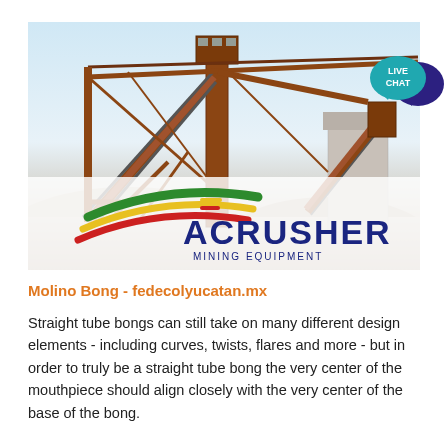[Figure (photo): Industrial mining equipment photo with large conveyor structures and cranes against a pale sky, overlaid with ACRUSHER MINING EQUIPMENT logo (rainbow swoosh graphic with bold blue text)]
[Figure (illustration): Live Chat speech bubble badge in teal/dark blue with 'LIVE CHAT' text, positioned top-right corner]
Molino Bong - fedecolyucatan.mx
Straight tube bongs can still take on many different design elements - including curves, twists, flares and more - but in order to truly be a straight tube bong the very center of the mouthpiece should align closely with the very center of the base of the bong.